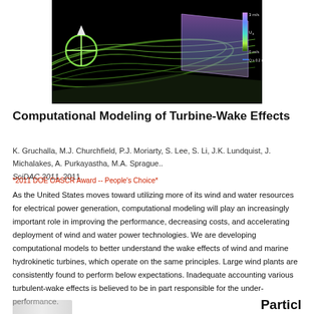[Figure (photo): Visualization of turbine wake effects showing green flow field streamlines and a purple translucent plane cross-section against a black background, with a color legend on the right showing scale from 0 m/s to 3 m/s (U_x) and Q≥0.2 s⁻¹]
Computational Modeling of Turbine-Wake Effects
K. Gruchalla, M.J. Churchfield, P.J. Moriarty, S. Lee, S. Li, J.K. Lundquist, J. Michalakes, A. Purkayastha, M.A. Sprague.. SciDAC 2011, 2011.
*2011 DOE OASCR Award -- People's Choice*
As the United States moves toward utilizing more of its wind and water resources for electrical power generation, computational modeling will play an increasingly important role in improving the performance, decreasing costs, and accelerating deployment of wind and water power technologies. We are developing computational models to better understand the wake effects of wind and marine hydrokinetic turbines, which operate on the same principles. Large wind plants are consistently found to perform below expectations. Inadequate accounting various turbulent-wake effects is believed to be in part responsible for the under-performance.